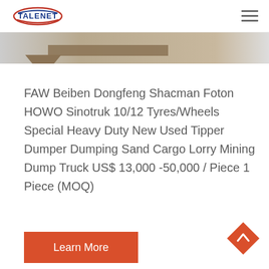TALENET
[Figure (photo): Partial view of a heavy duty dump truck / tipper, showing a tan/khaki colored truck body against a white background, cropped at the top of the page.]
FAW Beiben Dongfeng Shacman Foton HOWO Sinotruk 10/12 Tyres/Wheels Special Heavy Duty New Used Tipper Dumper Dumping Sand Cargo Lorry Mining Dump Truck US$ 13,000 -50,000 / Piece 1 Piece (MOQ)
Learn More